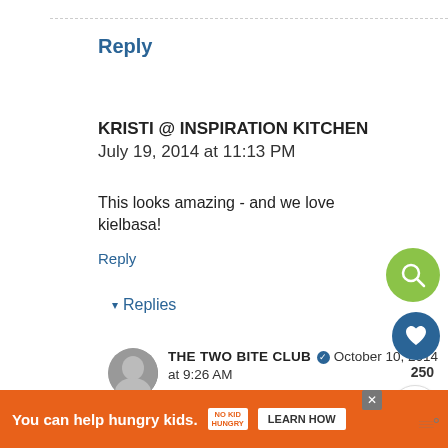Reply
KRISTI @ INSPIRATION KITCHEN July 19, 2014 at 11:13 PM
This looks amazing - and we love kielbasa!
Reply
▾ Replies
THE TWO BITE CLUB ✓ October 10, 2014 at 9:26 AM
Thanks, Kristi!
You can help hungry kids. NO KID HUNGRY LEARN HOW